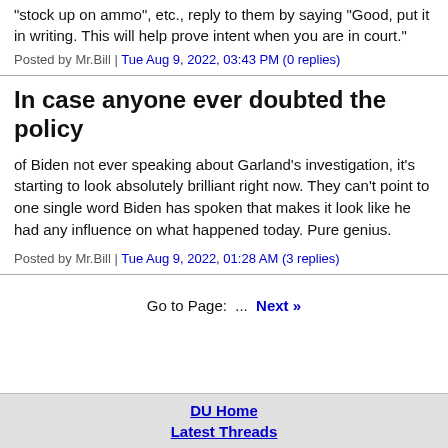"stock up on ammo", etc., reply to them by saying "Good, put it in writing. This will help prove intent when you are in court."
Posted by Mr.Bill | Tue Aug 9, 2022, 03:43 PM (0 replies)
In case anyone ever doubted the policy
of Biden not ever speaking about Garland's investigation, it's starting to look absolutely brilliant right now. They can't point to one single word Biden has spoken that makes it look like he had any influence on what happened today. Pure genius.
Posted by Mr.Bill | Tue Aug 9, 2022, 01:28 AM (3 replies)
Go to Page: ... Next »
DU Home
Latest Threads